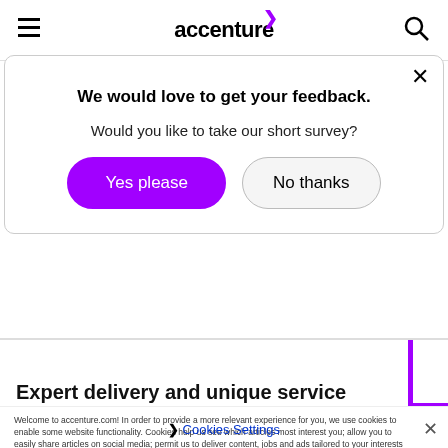accenture
We would love to get your feedback.
Would you like to take our short survey?
Yes please | No thanks
Expert delivery and unique service
Welcome to accenture.com! In order to provide a more relevant experience for you, we use cookies to enable some website functionality. Cookies help us see which articles most interest you; allow you to easily share articles on social media; permit us to deliver content, jobs and ads tailored to your interests and locations; and provide many other site benefits. For more information, please review our Cookies Policy and Privacy Statement.
❯ Cookies Settings